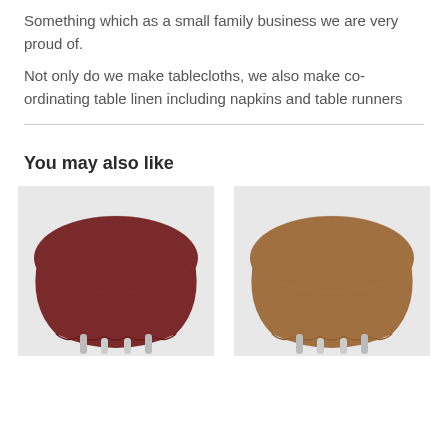Something which as a small family business we are very proud of.
Not only do we make tablecloths, we also make co-ordinating table linen including napkins and table runners
You may also like
[Figure (photo): Round table covered with a dark red/maroon tablecloth on silver metal legs, against a light grey background]
[Figure (photo): Round table covered with a tan/brown tablecloth on silver metal legs, against a light grey background]